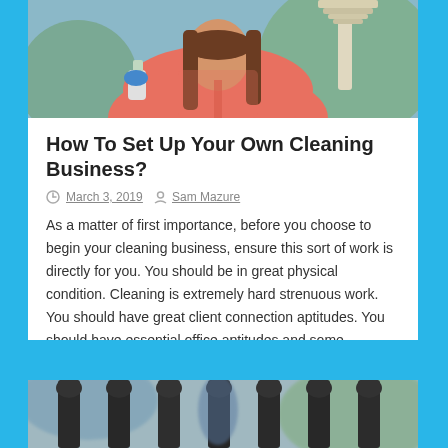[Figure (photo): Woman in pink jacket holding mop and cleaning supplies, seen from upper body against outdoor background]
How To Set Up Your Own Cleaning Business?
March 3, 2019  Sam Mazure
As a matter of first importance, before you choose to begin your cleaning business, ensure this sort of work is directly for you. You should be in great physical condition. Cleaning is extremely hard strenuous work. You should have great client connection aptitudes. You should have essential office aptitudes and some bookkeeping abilities. Or on [...]
Read More
[Figure (photo): Close-up of dark metal fence or railing balusters, blurred background with person visible]